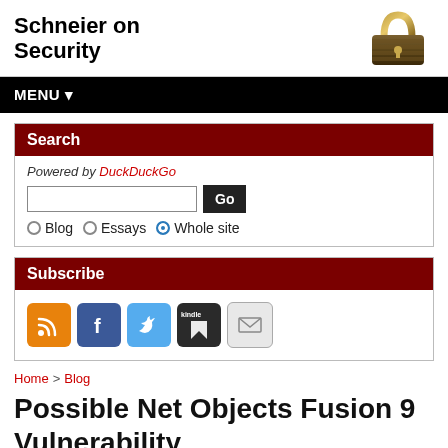Schneier on Security
MENU ▾
Search
Powered by DuckDuckGo
Subscribe
Home > Blog
Possible Net Objects Fusion 9 Vulnerability
I regularly get anonymous e-mail from people exposing